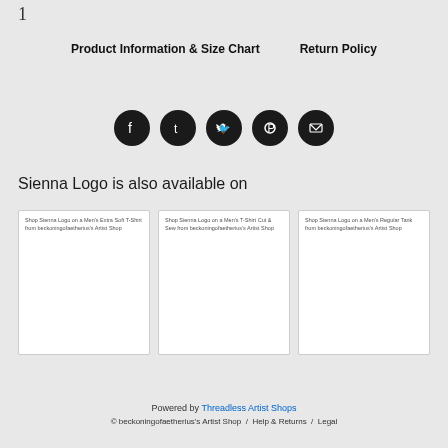1
Product Information & Size Chart     Return Policy
[Figure (infographic): Five social media icon circles (Facebook, Tumblr, Twitter, Pinterest, Email) in dark/black color]
Sienna Logo is also available on
[Figure (illustration): Shop Sienna Logo on a Men's Extra Soft T-Shirt from beckoningofaetherius's Artist Shop]
[Figure (illustration): Shop Sienna Logo on a Men's T-Shirt Cut & Sew from beckoningofaetherius's Artist Shop]
[Figure (illustration): Shop Sienna Logo on a Men's Regular Tank from beckoningofaetherius's Artist Shop]
Powered by Threadless Artist Shops
© beckoningofaetherius's Artist Shop  /  Help & Returns  /  Legal